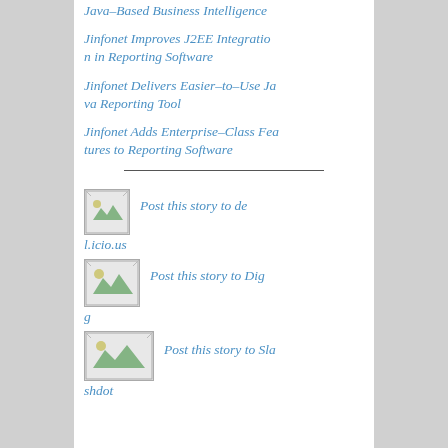Java-Based Business Intelligence
Jinfonet Improves J2EE Integration in Reporting Software
Jinfonet Delivers Easier-to-Use Java Reporting Tool
Jinfonet Adds Enterprise-Class Features to Reporting Software
Post this story to del.icio.us
[Figure (illustration): Small image placeholder icon]
Post this story to Digg
[Figure (illustration): Small image placeholder icon]
Post this story to Slashdot
[Figure (illustration): Small image placeholder icon]